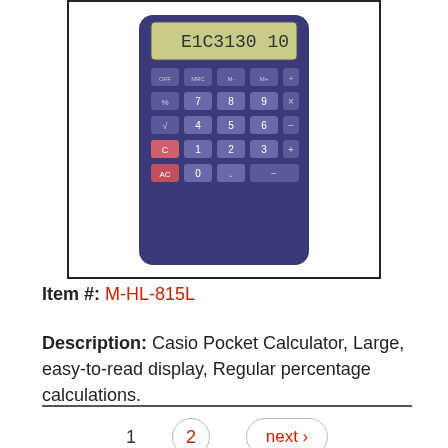[Figure (photo): Casio pocket calculator with dark purple/blue body, LCD display showing numbers, and multiple function keys including OFF, MRC, M-, M+, percent, square root, C, AC, and numeric keypad.]
Item #: M-HL-815L
Description: Casio Pocket Calculator, Large, easy-to-read display, Regular percentage calculations.
1  2  next ›